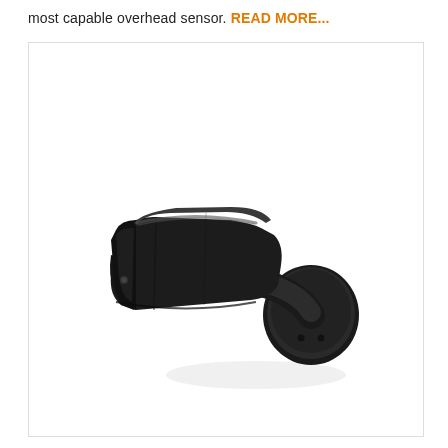most capable overhead sensor. READ MORE...
[Figure (photo): A black wall-mounted overhead sensor/camera device with an elongated bullet-shaped body and a rounded mounting bracket, photographed on a white background.]